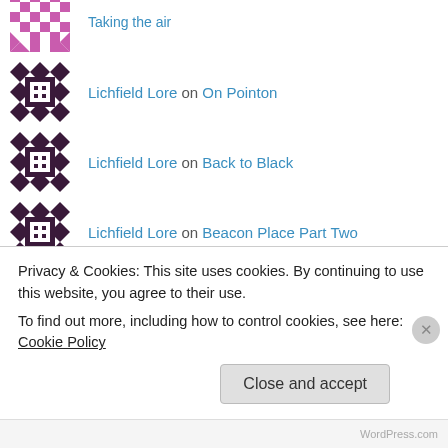Ann Lloyd on Taking the air
Lichfield Lore on On Pointon
Lichfield Lore on Back to Black
Lichfield Lore on Beacon Place Part Two
Lichfield Lore on Taking the air
Dick Roberts on Taking the air
Privacy & Cookies: This site uses cookies. By continuing to use this website, you agree to their use.
To find out more, including how to control cookies, see here: Cookie Policy
WordPress.com